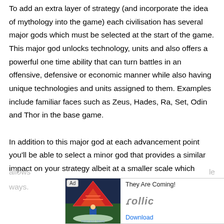To add an extra layer of strategy (and incorporate the idea of mythology into the game) each civilisation has several major gods which must be selected at the start of the game. This major god unlocks technology, units and also offers a powerful one time ability that can turn battles in an offensive, defensive or economic manner while also having unique technologies and units assigned to them. Examples include familiar faces such as Zeus, Hades, Ra, Set, Odin and Thor in the base game.
In addition to this major god at each advancement point you'll be able to select a minor god that provides a similar impact on your strategy albeit at a smaller scale which allows ... le ways.
[Figure (other): Advertisement banner for 'They Are Coming!' game by Follic, with Download button]